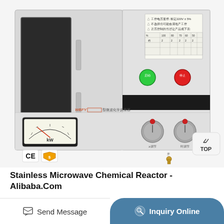[Figure (photo): A stainless steel microwave chemical reactor unit (WBFY series) shown from the front-right angle. The device features a microwave oven-style door on the left, a control panel on the right with a green start button, red stop button, a kW analog meter gauge, two rotary knobs labeled for adjustment, a small brass fitting/port at the bottom, and a specification label at the top with Chinese text and a power table. A 'TOP' scroll button is visible in the lower-right corner. CE and gold shield certification badges are shown in the lower-left.]
Stainless Microwave Chemical Reactor - Alibaba.Com
Send Message
Inquiry Online